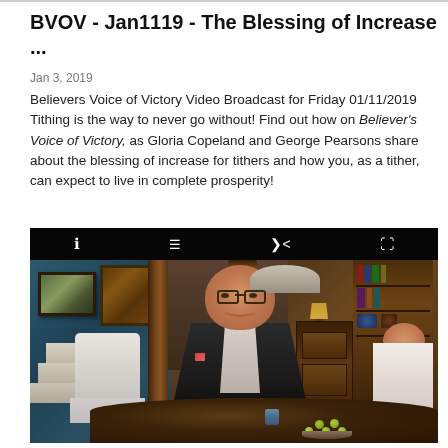BVOV - Jan1119 - The Blessing of Increase ...
Jan 3, 2019
Believers Voice of Victory Video Broadcast for Friday 01/11/2019 Tithing is the way to never go without! Find out how on Believer's Voice of Victory, as Gloria Copeland and George Pearsons share about the blessing of increase for tithers and how you, as a tither, can expect to live in complete prosperity!
[Figure (photo): A TV broadcast set showing George Pearsons seated at a dark wooden round table, smiling at the camera, wearing a dark suit. A woman is partially visible on the right side. The studio set features a warm, home-like interior with bookshelves, wood paneling, teal/blue patterned wallpaper on the left, a stained glass window, and decorative elements. A bowl of green apples is on the table. Video player toolbar is visible at the top.]